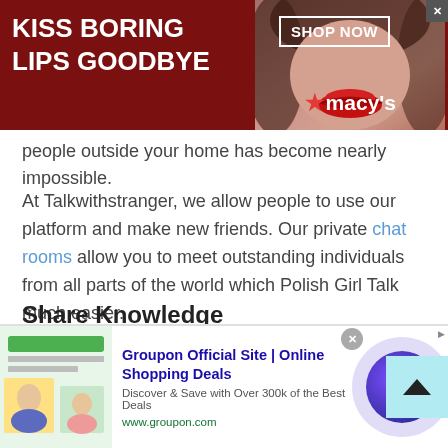[Figure (screenshot): Macy's advertisement banner: dark red background with 'KISS BORING LIPS GOODBYE' text, a woman's face with red lips, 'SHOP NOW' button, and Macy's star logo.]
people outside your home has become nearly impossible.
At Talkwithstranger, we allow people to use our platform and make new friends. Our private chat rooms allow you to meet outstanding individuals from all parts of the world which Polish Girl Talk much easier.
Share Knowledge
Since you meet new people from any random part of the world, it gives you a chance to expand your horizons and get to learn more about other cultures, other regions, and
[Figure (screenshot): Groupon advertisement banner at the bottom: green/image thumbnail, 'Groupon Official Site | Online Shopping Deals' text in blue, 'Discover & Save with Over 300k of the Best Deals', 'www.groupon.com', and a purple circular arrow button.]